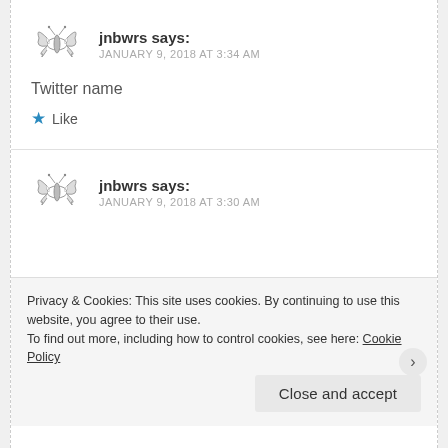[Figure (illustration): Butterfly avatar icon, pencil sketch style, grayscale]
jnbwrs says:
JANUARY 9, 2018 AT 3:34 AM
Twitter name
★ Like
[Figure (illustration): Butterfly avatar icon, pencil sketch style, grayscale]
jnbwrs says:
JANUARY 9, 2018 AT 3:30 AM
Privacy & Cookies: This site uses cookies. By continuing to use this website, you agree to their use.
To find out more, including how to control cookies, see here: Cookie Policy
Close and accept